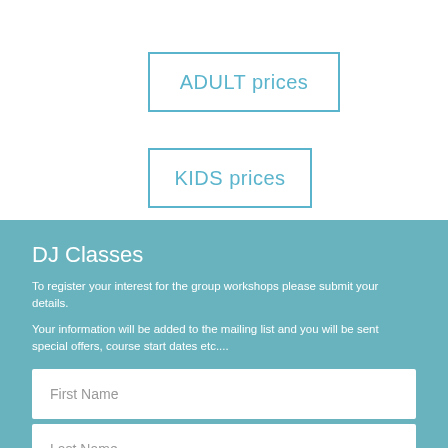ADULT prices
KIDS prices
DJ Classes
To register your interest for the group workshops please submit your details.
Your information will be added to the mailing list and you will be sent special offers, course start dates etc....
First Name
Last Name